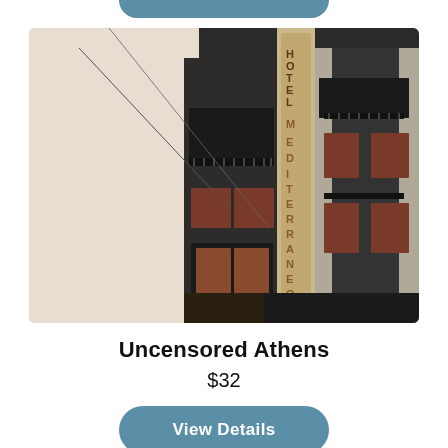[Figure (photo): Partial view of a blue rounded button at the top of the page (cropped, only bottom portion visible)]
[Figure (photo): Photograph of the Hotel Mediterraneo building facade in Athens. A dark multi-story building with balconies and wooden shutters. A vertical sign reading 'HOTEL MEDITERRANEO' runs down the center of the building.]
Uncensored Athens
$32
[Figure (other): Blue rounded 'View Details' button]
[Figure (photo): Partial bottom image showing a cityscape, cropped at bottom of page]